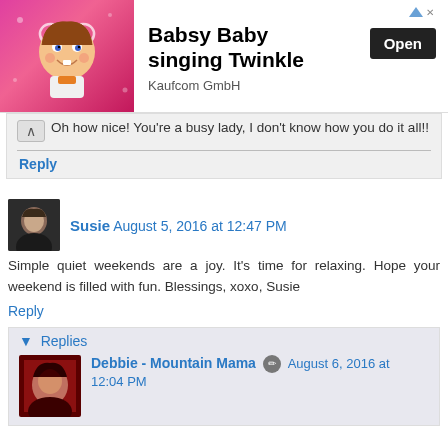[Figure (screenshot): Advertisement banner for 'Babsy Baby singing Twinkle' app by Kaufcom GmbH, featuring a cartoon baby with an Open button]
Oh how nice! You're a busy lady, I don't know how you do it all!!
Reply
Susie August 5, 2016 at 12:47 PM
Simple quiet weekends are a joy. It's time for relaxing. Hope your weekend is filled with fun. Blessings, xoxo, Susie
Reply
▼ Replies
Debbie - Mountain Mama August 6, 2016 at 12:04 PM